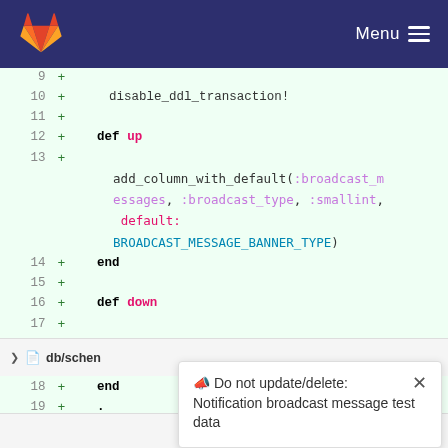[Figure (screenshot): GitLab navigation bar with logo and Menu button]
[Figure (screenshot): Code diff view showing Ruby migration code with line numbers 9-19, green added lines background, with syntax highlighting. Lines show: disable_ddl_transaction!, def up, add_column_with_default(:broadcast_messages, :broadcast_type, :smallint, default: BROADCAST_MESSAGE_BANNER_TYPE), end, def down, remove_column(:broadcast_messages, :broadcast_type), end]
db/schen
Do not update/delete: Notification broadcast message test data